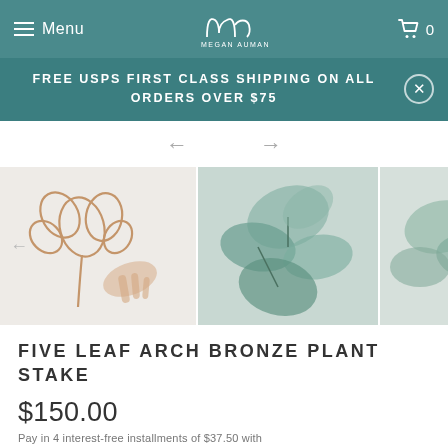Menu | MEGAN AUMAN | Cart 0
FREE USPS FIRST CLASS SHIPPING ON ALL ORDERS OVER $75
[Figure (photo): Navigation arrows (left and right) for image carousel]
[Figure (photo): Three product photos: (1) hand holding a copper wire arch plant stake with five leaf loops against white background, (2) close-up of green plant leaves, (3) partial view of wire stake with plant leaves]
FIVE LEAF ARCH BRONZE PLANT STAKE
$150.00
Pay in 4 interest-free installments of $37.50 with